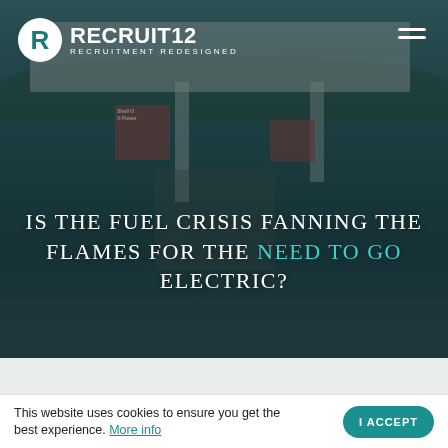[Figure (photo): Background photo of a Shell V-Power petrol/gas station with fuel pumps, canopy, and signs, overlaid with a dark teal tint]
RECRUIT12 RECRUITMENT REDESIGNED
IS THE FUEL CRISIS FANNING THE FLAMES FOR THE NEED TO GO ELECTRIC?
This website uses cookies to ensure you get the best experience. More info